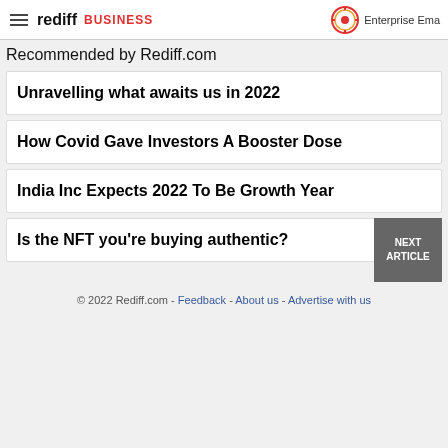rediff BUSINESS | Enterprise Email
Recommended by Rediff.com
Unravelling what awaits us in 2022
How Covid Gave Investors A Booster Dose
India Inc Expects 2022 To Be Growth Year
Is the NFT you're buying authentic?
© 2022 Rediff.com - Feedback - About us - Advertise with us